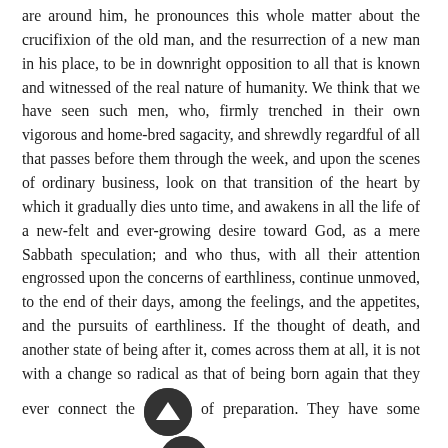are around him, he pronounces this whole matter about the crucifixion of the old man, and the resurrection of a new man in his place, to be in downright opposition to all that is known and witnessed of the real nature of humanity. We think that we have seen such men, who, firmly trenched in their own vigorous and home-bred sagacity, and shrewdly regardful of all that passes before them through the week, and upon the scenes of ordinary business, look on that transition of the heart by which it gradually dies unto time, and awakens in all the life of a new-felt and ever-growing desire toward God, as a mere Sabbath speculation; and who thus, with all their attention engrossed upon the concerns of earthliness, continue unmoved, to the end of their days, among the feelings, and the appetites, and the pursuits of earthliness. If the thought of death, and another state of being after it, comes across them at all, it is not with a change so radical as that of being born again that they ever connect the [nav] of preparation. They have some vague conception of [being] quite enough that they acquit themselves in some decent and tolerable way of their relative obligations; and that, upon the